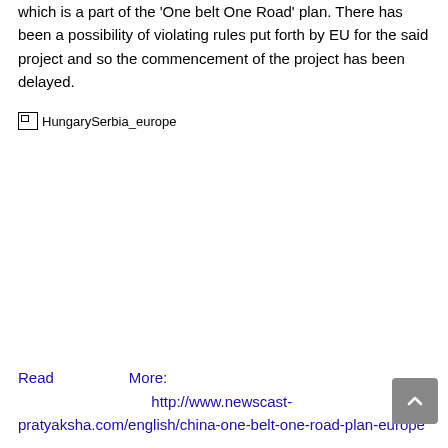which is a part of the 'One belt One Road' plan. There has been a possibility of violating rules put forth by EU for the said project and so the commencement of the project has been delayed.
[Figure (photo): Broken image placeholder with alt text 'HungarySerbia_europe']
Read More: http://www.newscast-pratyaksha.com/english/china-one-belt-one-road-plan-europe